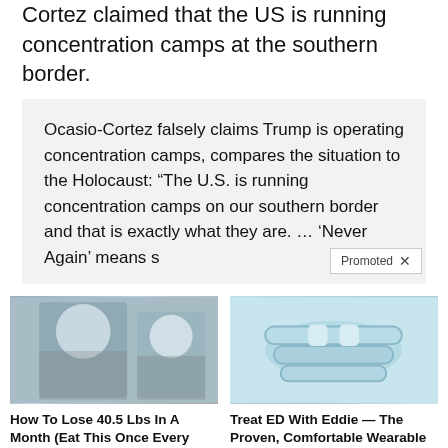Cortez claimed that the US is running concentration camps at the southern border.
Ocasio-Cortez falsely claims Trump is operating concentration camps, compares the situation to the Holocaust: “The U.S. is running concentration camps on our southern border and that is exactly what they are. … ‘Never Again’ means something…
[Figure (photo): Two women taking mirror selfie wearing gray casual clothes]
[Figure (photo): Light blue rubber/silicone bracelets or wearable device rings stacked]
How To Lose 40.5 Lbs In A Month (Eat This Once Every Day)
9,711
Treat ED With Eddie — The Proven, Comfortable Wearable That Comes With A Satisfaction Guarantee
158,601